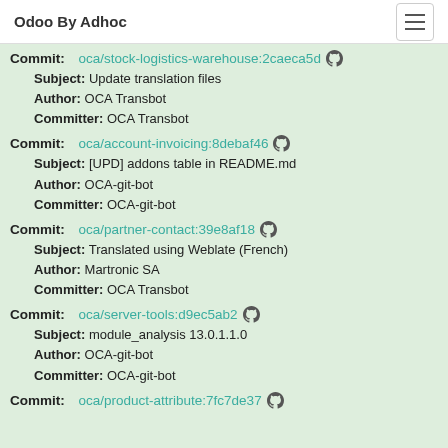Odoo By Adhoc
Commit: oca/stock-logistics-warehouse:2caeca5d
Subject: Update translation files
Author: OCA Transbot
Committer: OCA Transbot
Commit: oca/account-invoicing:8debaf46
Subject: [UPD] addons table in README.md
Author: OCA-git-bot
Committer: OCA-git-bot
Commit: oca/partner-contact:39e8af18
Subject: Translated using Weblate (French)
Author: Martronic SA
Committer: OCA Transbot
Commit: oca/server-tools:d9ec5ab2
Subject: module_analysis 13.0.1.1.0
Author: OCA-git-bot
Committer: OCA-git-bot
Commit: oca/product-attribute:7fc7de37